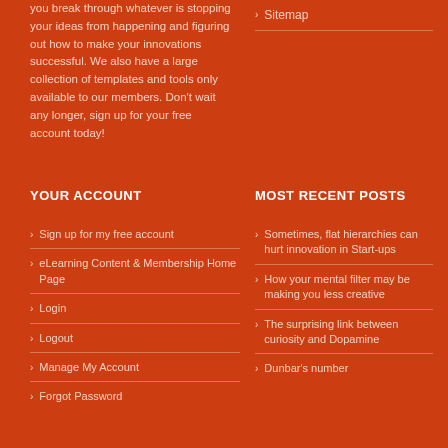you break through whatever is stopping your ideas from happening and figuring out how to make your innovations successful. We also have a large collection of templates and tools only available to our members. Don't wait any longer, sign up for your free account today!
Sitemap
YOUR ACCOUNT
MOST RECENT POSTS
Sign up for my free account
eLearning Content & Membership Home Page
Login
Logout
Manage My Account
Forgot Password
Sometimes, flat hierarchies can hurt innovation in Start-ups
How your mental filter may be making you less creative
The surprising link between curiosity and Dopamine
Dunbar's number